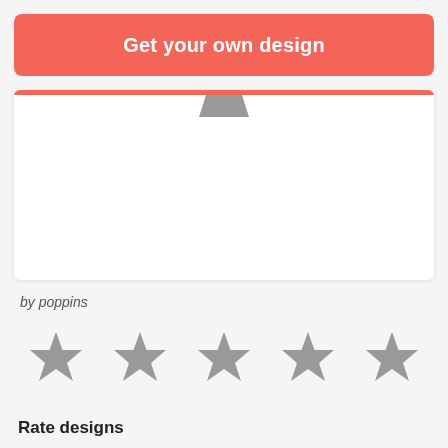Get your own design
[Figure (screenshot): White card with a coral/red top bar and a small grey trapezoidal tab icon at top center, representing a blank design preview card.]
by poppins
[Figure (illustration): Five grey star icons in a row for rating.]
Rate designs